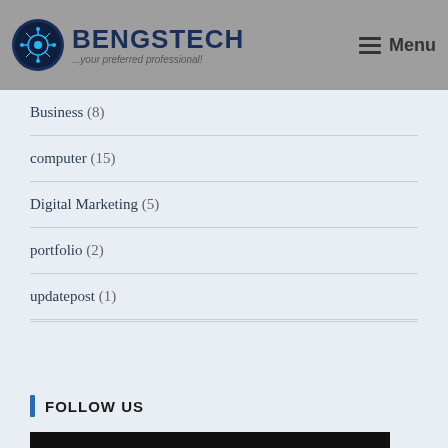[Figure (logo): Bengstech logo with circular tech icon and text '...your preferred professional!']
Business (8)
computer (15)
Digital Marketing (5)
portfolio (2)
updatepost (1)
FOLLOW US
[Figure (screenshot): Social media share buttons row: Facebook, Twitter, LinkedIn, WhatsApp, Telegram, Messenger, Print, Instagram, More]